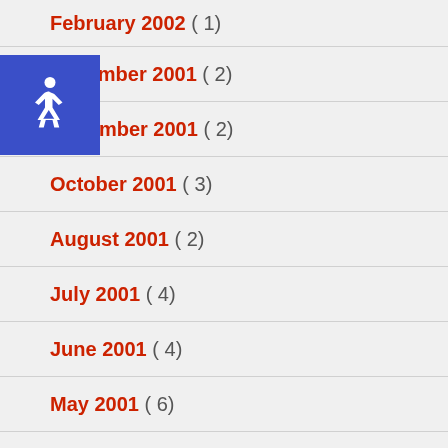February 2002 ( 1)
December 2001 ( 2)
November 2001 ( 2)
October 2001 ( 3)
August 2001 ( 2)
July 2001 ( 4)
June 2001 ( 4)
May 2001 ( 6)
April 2001 ( 4)